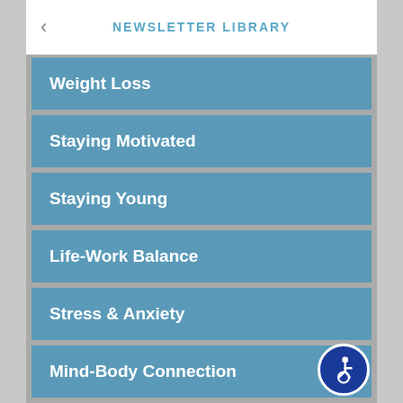NEWSLETTER LIBRARY
Weight Loss
Staying Motivated
Staying Young
Life-Work Balance
Stress & Anxiety
Mind-Body Connection
Wellness
Pregnancy & Parenting
Back, Body & Joint Pain
[Figure (illustration): Accessibility icon — white wheelchair user symbol on dark blue circular background]